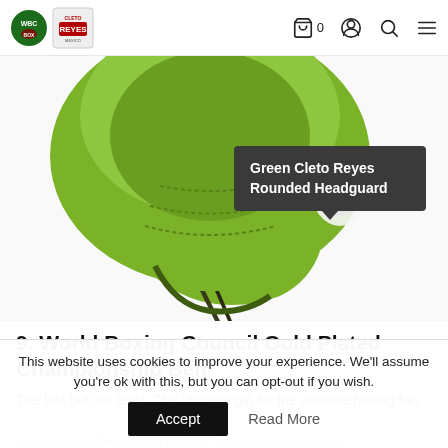[Figure (screenshot): Website navigation bar with WBC and Cleto Reyes logos on the left, and cart (0), user, search, and menu icons on the right]
[Figure (photo): Green Cleto Reyes Rounded Headguard product image with a dark tooltip overlay reading 'Green Cleto Reyes Rounded Headguard']
9. World Boxing Council Gold Plated Championship Belt
The last but not least. The ultimate gift for the ultimate boxing fan.
A piece of limited edition piece of memorabilia, just like
This website uses cookies to improve your experience. We'll assume you're ok with this, but you can opt-out if you wish.